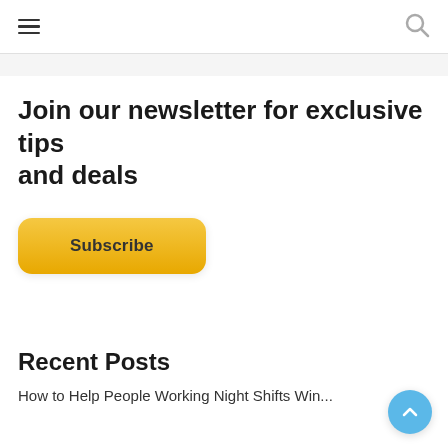≡  [search icon]
Join our newsletter for exclusive tips and deals
Subscribe
Recent Posts
How to Help People Working Night Shifts Win...